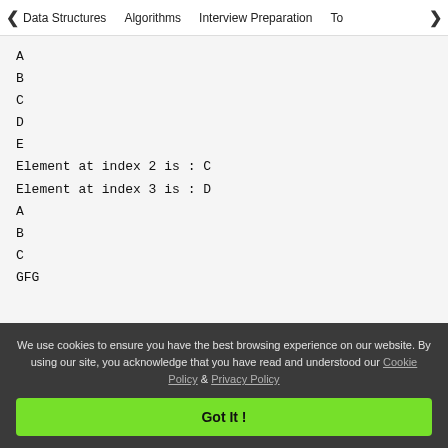< Data Structures   Algorithms   Interview Preparation   To>
A
B
C
D
E
Element at index 2 is : C
Element at index 3 is : D
A
B
C
GFG
We use cookies to ensure you have the best browsing experience on our website. By using our site, you acknowledge that you have read and understood our Cookie Policy & Privacy Policy
Got It !